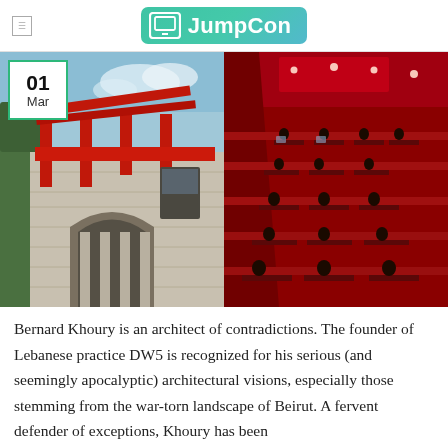JumpCon
[Figure (photo): Two architectural photos side by side: left shows exterior of historic building with red steel structural elements added on top; right shows red-lit interior of a lecture hall or library with stepped seating and people working at tables. Date badge overlay in top-left reads '01 Mar'.]
Bernard Khoury is an architect of contradictions. The founder of Lebanese practice DW5 is recognized for his serious (and seemingly apocalyptic) architectural visions, especially those stemming from the war-torn landscape of Beirut. A fervent defender of exceptions, Khoury has been